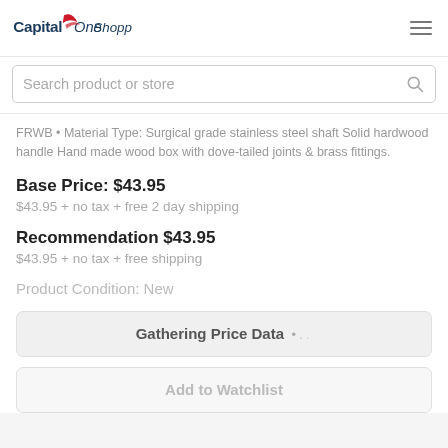Capital One Shopping
Search product or store
FRWB • Material Type: Surgical grade stainless steel shaft Solid hardwood handle Hand made wood box with dove-tailed joints & brass fittings.
Base Price: $43.95
$43.95 + no tax + free 2 day shipping
Recommendation $43.95
$43.95 + no tax + free shipping
Product Condition: New
Gathering Price Data •...
Add to Watchlist